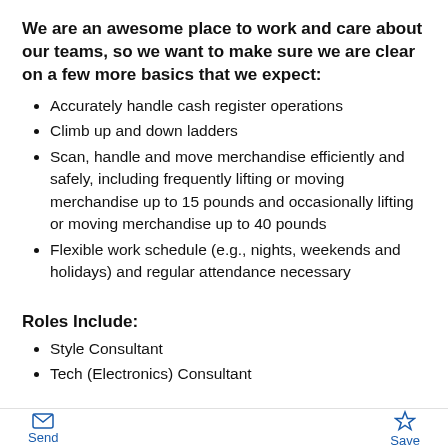We are an awesome place to work and care about our teams, so we want to make sure we are clear on a few more basics that we expect:
Accurately handle cash register operations
Climb up and down ladders
Scan, handle and move merchandise efficiently and safely, including frequently lifting or moving merchandise up to 15 pounds and occasionally lifting or moving merchandise up to 40 pounds
Flexible work schedule (e.g., nights, weekends and holidays) and regular attendance necessary
Roles Include:
Style Consultant
Tech (Electronics) Consultant
Send  Save